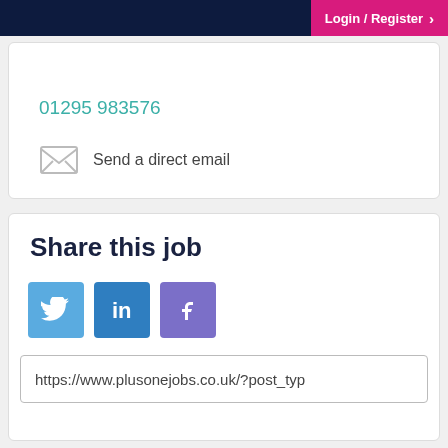Login / Register
01295 983576
Send a direct email
Share this job
[Figure (other): Social share buttons: Twitter, LinkedIn, Facebook]
https://www.plusonejobs.co.uk/?post_typ